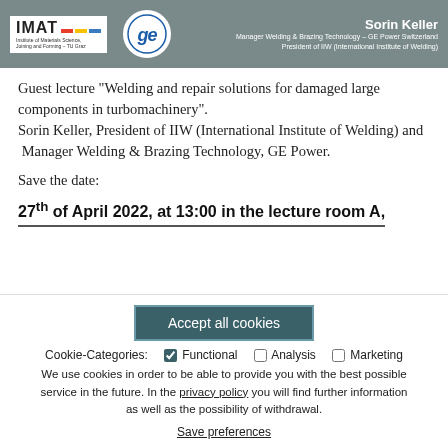IMAT — Institute of Materials Science, Joining and Forming — TU Graz | GE logo | Sorin Keller, Manager Welding & Brazing Technology – GE Power Switzerland, President of IIW (International Institute of Welding)
Guest lecture "Welding and repair solutions for damaged large components in turbomachinery". Sorin Keller, President of IIW (International Institute of Welding) and Manager Welding & Brazing Technology, GE Power.
Save the date:
27th of April 2022, at 13:00 in the lecture room A,
Accept all cookies
Cookie-Categories: ☑ Functional □ Analysis □ Marketing We use cookies in order to be able to provide you with the best possible service in the future. In the privacy policy you will find further information as well as the possibility of withdrawal.
Save preferences